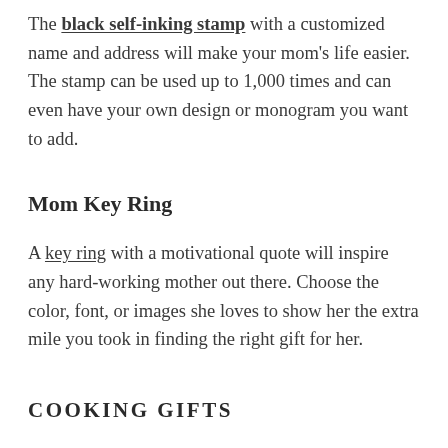The black self-inking stamp with a customized name and address will make your mom's life easier. The stamp can be used up to 1,000 times and can even have your own design or monogram you want to add.
Mom Key Ring
A key ring with a motivational quote will inspire any hard-working mother out there. Choose the color, font, or images she loves to show her the extra mile you took in finding the right gift for her.
COOKING GIFTS
Whether she enjoys baking her famous sweets or cooking up comfort meals, the mom-chefs of the world can always use more tools to help them in the